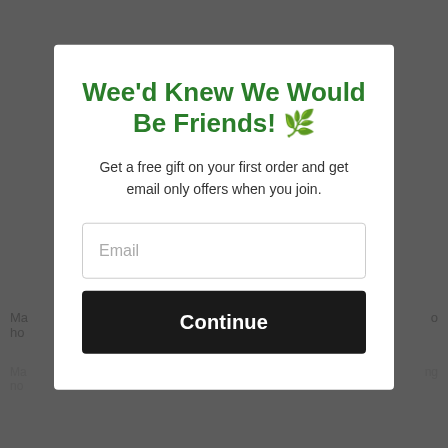Wee'd Knew We Would Be Friends! 🌿
Get a free gift on your first order and get email only offers when you join.
Email
Continue